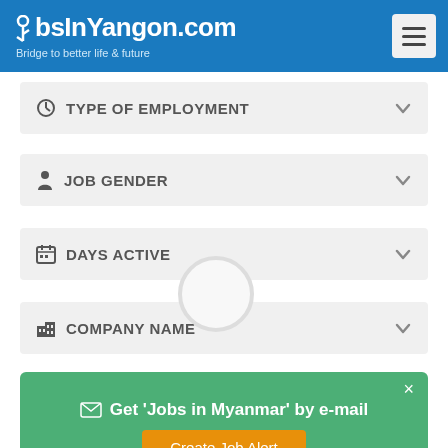JobsInYangon.com — Bridge to better life & future
TYPE OF EMPLOYMENT
JOB GENDER
DAYS ACTIVE
COMPANY NAME
✉ Get 'Jobs in Myanmar' by e-mail — Create Job Alert
Database Administrator M/F  (1)
IT & Telecoms jobs